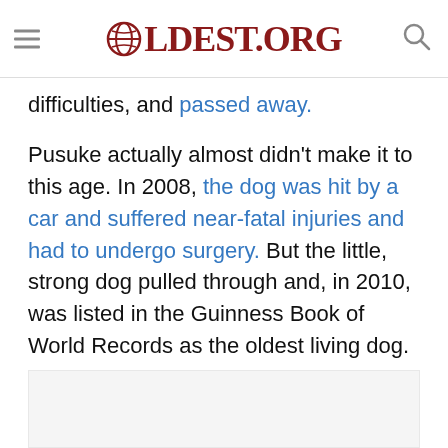OLDEST.ORG
difficulties, and passed away.
Pusuke actually almost didn’t make it to this age. In 2008, the dog was hit by a car and suffered near-fatal injuries and had to undergo surgery. But the little, strong dog pulled through and, in 2010, was listed in the Guinness Book of World Records as the oldest living dog.
[Figure (photo): Image placeholder at bottom of page]